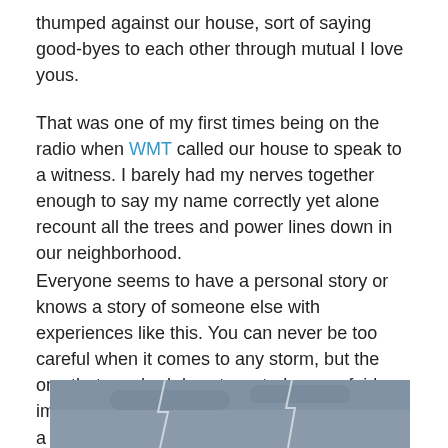thumped against our house, sort of saying good-byes to each other through mutual I love yous.
That was one of my first times being on the radio when WMT called our house to speak to a witness. I barely had my nerves together enough to say my name correctly yet alone recount all the trees and power lines down in our neighborhood.
Everyone seems to have a personal story or knows a story of someone else with experiences like this. You can never be too careful when it comes to any storm, but the one that reached downtown today was fairly impressive in its own right. Like I said, it’s been a long time since I’ve seen something like that.
[Figure (photo): A photograph of lightning bolts against a grey stormy sky, partially visible at the bottom of the page.]